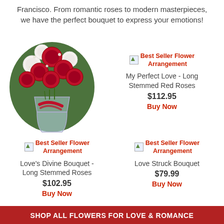Francisco. From romantic roses to modern masterpieces, we have the perfect bouquet to express your emotions!
[Figure (photo): Large bouquet of red and white long-stemmed roses in a glass vase with a red ribbon]
Best Seller Flower Arrangement
My Perfect Love - Long Stemmed Red Roses
$112.95
Buy Now
Best Seller Flower Arrangement
Love's Divine Bouquet - Long Stemmed Roses
$102.95
Buy Now
Best Seller Flower Arrangement
Love Struck Bouquet
$79.99
Buy Now
SHOP ALL FLOWERS FOR LOVE & ROMANCE